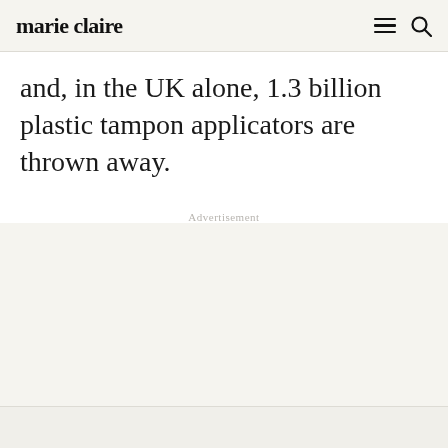marie claire
and, in the UK alone, 1.3 billion plastic tampon applicators are thrown away.
Advertisement